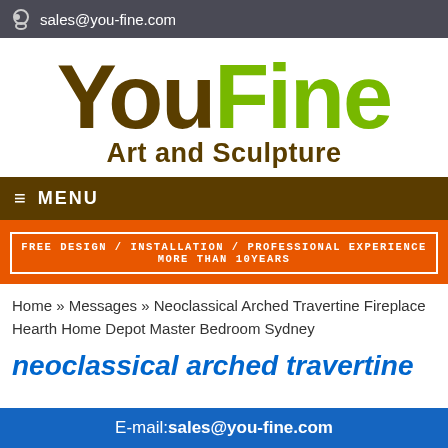sales@you-fine.com
[Figure (logo): YouFine Art and Sculpture logo with 'You' in dark brown and 'Fine' in green, subtitle 'Art and Sculpture' in dark brown]
MENU
FREE DESIGN / INSTALLATION / PROFESSIONAL EXPERIENCE MORE THAN 10YEARS
Home » Messages » Neoclassical Arched Travertine Fireplace Hearth Home Depot Master Bedroom Sydney
neoclassical arched travertine
E-mail:sales@you-fine.com